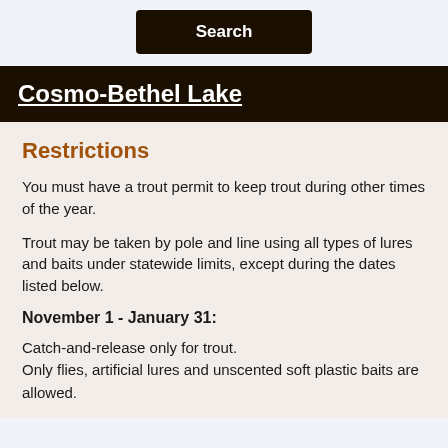[Figure (other): Search button UI element with dark brown background and white bold text reading 'Search']
Cosmo-Bethel Lake
Restrictions
You must have a trout permit to keep trout during other times of the year.
Trout may be taken by pole and line using all types of lures and baits under statewide limits, except during the dates listed below.
November 1 - January 31:
Catch-and-release only for trout.
Only flies, artificial lures and unscented soft plastic baits are allowed.